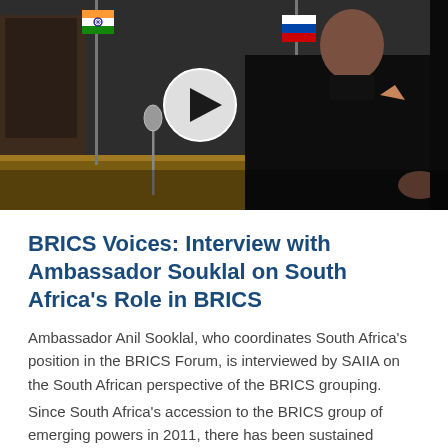[Figure (photo): A person in a black formal outfit seated at a conference table with flags (India and Russia visible), microphone present. A video play button overlay is visible in the center of the image.]
BRICS Voices: Interview with Ambassador Souklal on South Africa's Role in BRICS
Ambassador Anil Sooklal, who coordinates South Africa's position in the BRICS Forum, is interviewed by SAIIA on the South African perspective of the BRICS grouping.
Since South Africa's accession to the BRICS group of emerging powers in 2011, there has been sustained interest in South Africa's role in the shifting dynamics of